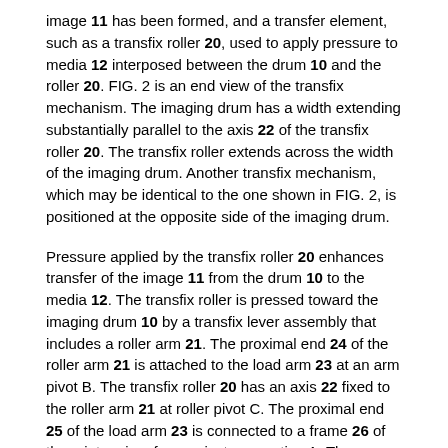image 11 has been formed, and a transfer element, such as a transfix roller 20, used to apply pressure to media 12 interposed between the drum 10 and the roller 20. FIG. 2 is an end view of the transfix mechanism. The imaging drum has a width extending substantially parallel to the axis 22 of the transfix roller 20. The transfix roller extends across the width of the imaging drum. Another transfix mechanism, which may be identical to the one shown in FIG. 2, is positioned at the opposite side of the imaging drum.
Pressure applied by the transfix roller 20 enhances transfer of the image 11 from the drum 10 to the media 12. The transfix roller is pressed toward the imaging drum 10 by a transfix lever assembly that includes a roller arm 21. The proximal end 24 of the roller arm 21 is attached to the load arm 23 at an arm pivot B. The transfix roller 20 has an axis 22 fixed to the roller arm 21 at roller pivot C. The proximal end 25 of the load arm 23 is connected to a frame 26 of the printer via a frame pivot connection A. The second, distal, end 19 of the roller arm 21 includes an engaging mechanism to cause the roller arm to selectively move toward the imaging drum for the transfix operation. In an